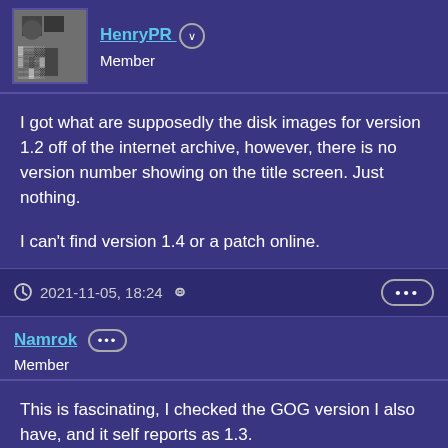HenryPR — Member
I got what are supposedly the disk images for version 1.2 off of the internet archive, however, there is no version number showing on the title screen. Just nothing.

I can't find version 1.4 or a patch online.
2021-11-05, 18:24 🔗 •••
Namrok ••• Member
This is fascinating, I checked the GOG version I also have, and it self reports as 1.3.

My guess is it's a bug in the software version? I wouldn't put it past SSI to forget to bounds check menus, and leave you